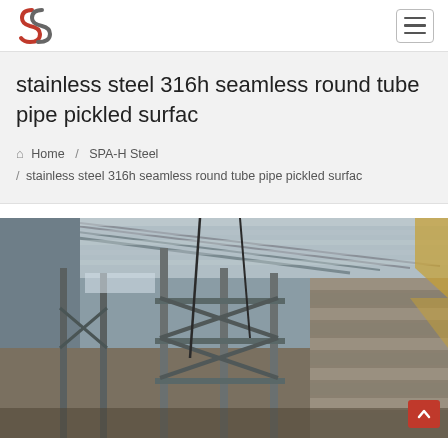stainless steel 316h seamless round tube pipe pickled surfac — navigation header with logo and hamburger menu
stainless steel 316h seamless round tube pipe pickled surfac
Home / SPA-H Steel / stainless steel 316h seamless round tube pipe pickled surfac
[Figure (photo): Interior of a large industrial steel fabrication or storage facility showing steel structures, scaffolding, roof trusses, and stacked metal sheets or panels under a corrugated metal roof.]